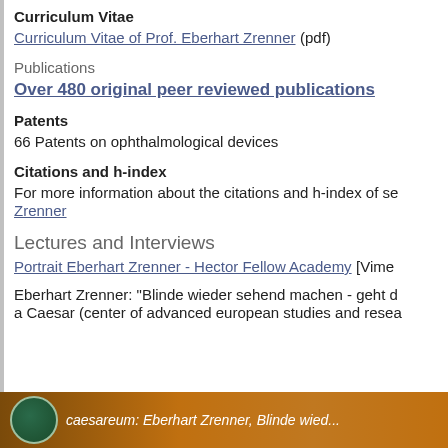Curriculum Vitae
Curriculum Vitae of Prof. Eberhart Zrenner (pdf)
Publications
Over 480 original peer reviewed publications
Patents
66 Patents on ophthalmological devices
Citations and h-index
For more information about the citations and h-index of se... Zrenner
Lectures and Interviews
Portrait Eberhart Zrenner - Hector Fellow Academy [Vimeo...]
Eberhart Zrenner: "Blinde wieder sehend machen - geht d... a Caesar (center of advanced european studies and resea...
[Figure (photo): Bottom banner image showing a circular green medallion/coin on an orange-brown background with text 'caesareum: Eberhart Zrenner, Blinde wied...']